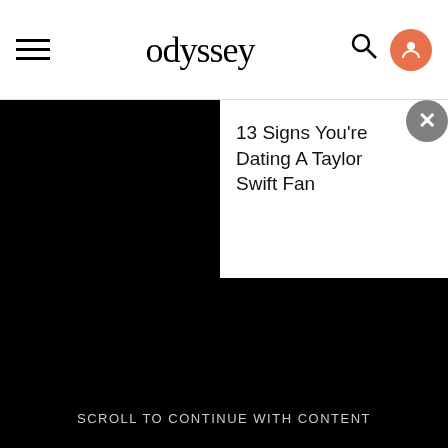odyssey
13 Signs You're Dating A Taylor Swift Fan
[Figure (screenshot): Black background area simulating a video or dark content area below header]
SCROLL TO CONTINUE WITH CONTENT